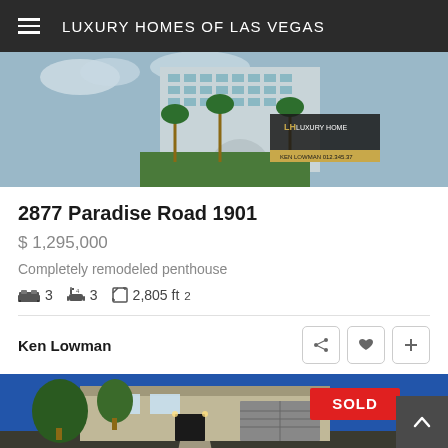LUXURY HOMES OF LAS VEGAS
[Figure (photo): Exterior photo of a luxury high-rise condominium building with palm trees, glass facade, and a Luxury Homes of Las Vegas watermark overlay.]
2877 Paradise Road 1901
$ 1,295,000
Completely remodeled penthouse
3 beds  3 baths  2,805 ft²
Ken Lowman
[Figure (photo): Exterior night photo of a modern luxury home with lit entrance, trees, and a red SOLD badge overlay.]